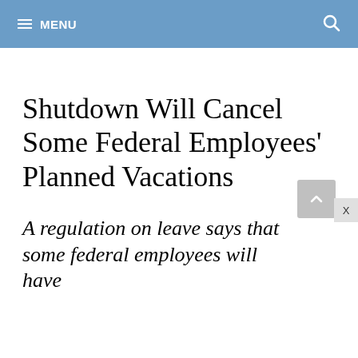MENU
Shutdown Will Cancel Some Federal Employees' Planned Vacations
A regulation on leave says that some federal employees will have